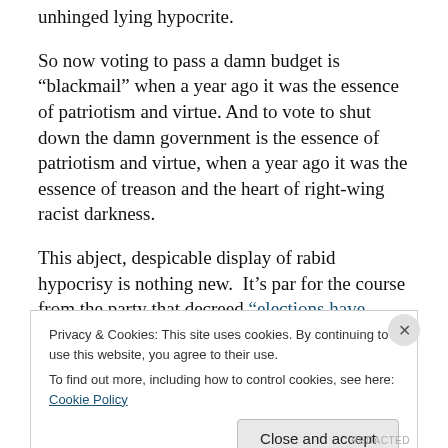unhinged lying hypocrite.
So now voting to pass a damn budget is “blackmail” when a year ago it was the essence of patriotism and virtue. And to vote to shut down the damn government is the essence of patriotism and virtue, when a year ago it was the essence of treason and the heart of right-wing racist darkness.
This abject, despicable display of rabid hypocrisy is nothing new.  It’s par for the course from the party that decreed “elections have consequences.”  Unless they lose
Privacy & Cookies: This site uses cookies. By continuing to use this website, you agree to their use.
To find out more, including how to control cookies, see here: Cookie Policy
Close and accept
REDACTED